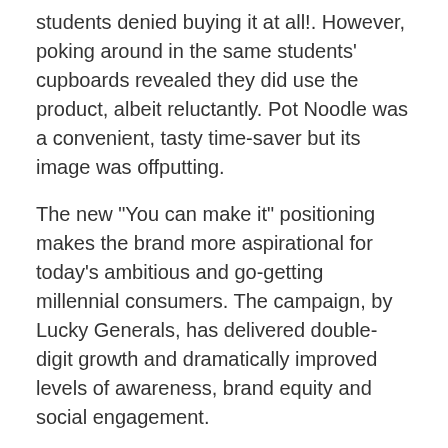students denied buying it at all!. However, poking around in the same students' cupboards revealed they did use the product, albeit reluctantly. Pot Noodle was a convenient, tasty time-saver but its image was offputting.
The new "You can make it" positioning makes the brand more aspirational for today's ambitious and go-getting millennial consumers. The campaign, by Lucky Generals, has delivered double-digit growth and dramatically improved levels of awareness, brand equity and social engagement.
[Figure (screenshot): Screenshot label reading SCREEN SHOT 2016-10-31 AT 11.42.05 with a small image icon]
POSITION WITH PURPOSE, LIKE LYNX
Our research suggested that a clear sense of the broader role a brand plays in people's lives and society is increasingly important. This reflects the growing